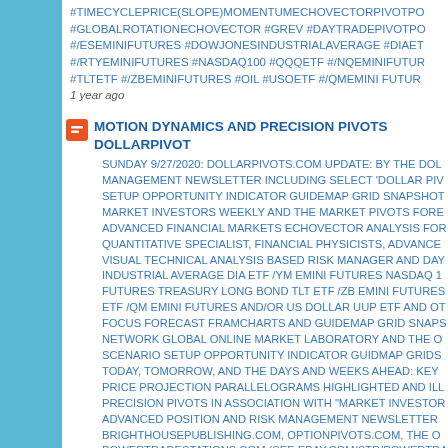#TIMECYCLEPRICE(SLOPE)MOMENTUMECHOVECTORPIVOTPO #GLOBALROTATIONECHOVECTOR #GREV #DAYTRADEPIVOTPO #/ESEMINIFUTURES #DOWJONESINDUSTRIALAVERAGE #DIAET #/RTYEMINIFUTURES #NASDAQ100 #QQQETF #/NQEMINIFUTUR #TLTETF #/ZBEMINIFUTURES #OIL #USOETF #/QMEMINI FUTUR 1 year ago
MOTION DYNAMICS AND PRECISION PIVOTS DOLLARPIVOT SUNDAY 9/27/2020: DOLLARPIVOTS.COM UPDATE: BY THE DOL MANAGEMENT NEWSLETTER INCLUDING SELECT 'DOLLAR PIV SETUP OPPORTUNITY INDICATOR GUIDEMAP GRID SNAPSHOT MARKET INVESTORS WEEKLY AND THE MARKET PIVOTS FORE ADVANCED FINANCIAL MARKETS ECHOVECTOR ANALYSIS FOR QUANTITATIVE SPECIALIST, FINANCIAL PHYSICISTS, ADVANCED VISUAL TECHNICAL ANALYSIS BASED RISK MANAGER AND DAY INDUSTRIAL AVERAGE DIA ETF /YM EMINI FUTURES NASDAQ 1 FUTURES TREASURY LONG BOND TLT ETF /ZB EMINI FUTURES ETF /QM EMINI FUTURES AND/OR US DOLLAR UUP ETF AND OT FOCUS FORECAST FRAMCHARTS AND GUIDEMAP GRID SNAPS NETWORK GLOBAL ONLINE MARKET LABORATORY AND THE O SCENARIO SETUP OPPORTUNITY INDICATOR GUIDMAP GRIDS TODAY, TOMORROW, AND THE DAYS AND WEEKS AHEAD: KEY PRICE PROJECTION PARALLELOGRAMS HIGHLIGHTED AND ILL PRECISION PIVOTS IN ASSOCIATION WITH "MARKET INVESTOR ADVANCED POSITION AND RISK MANAGEMENT NEWSLETTER BRIGHTHOUSEPUBLISHING.COM, OPTIONPIVOTS.COM, THE O POWERTRADESTATIONS.COM (SEE EBAY.COM/STR/POWERTRA OPPORTUNITY INDICATOR GUIDEMAP GRID FOCUS FORECAST NARRATIVES: POWERFUL FORECASTS RIGHT ON TARGET: INC EDGE EASYGUIDECHART SANPSHOT UPDATES: FOCUSING ON O